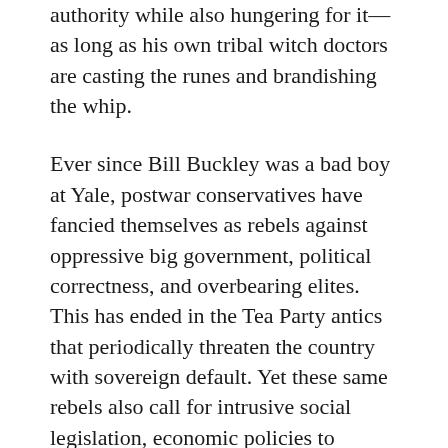authority while also hungering for it—as long as his own tribal witch doctors are casting the runes and brandishing the whip.
Ever since Bill Buckley was a bad boy at Yale, postwar conservatives have fancied themselves as rebels against oppressive big government, political correctness, and overbearing elites. This has ended in the Tea Party antics that periodically threaten the country with sovereign default. Yet these same rebels also call for intrusive social legislation, economic policies to further entrench the powerful, and cling like limpets to an authoritarian charlatan like Trump.